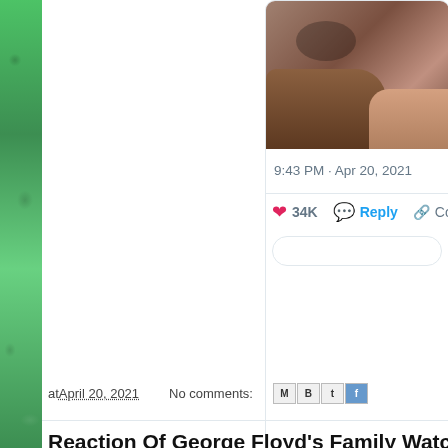[Figure (screenshot): Top portion of a tweet card showing a photo of hands, timestamp 9:43 PM · Apr 20, 2021, with 34K likes, Reply button, and a link icon with 'Co' text, plus an empty reply input box.]
at April 20, 2021   No comments:
[Figure (screenshot): Share icons row: M (Gmail), B (Blogger), t (Twitter), f (Facebook) small square icon buttons.]
Reaction Of George Floyd's Family Watc
[Figure (screenshot): Bottom tweet card showing Dana Alexa @DanaAlexaNews · Follow, with avatar photo, and beginning of tweet text 'Reaction of George Floy']